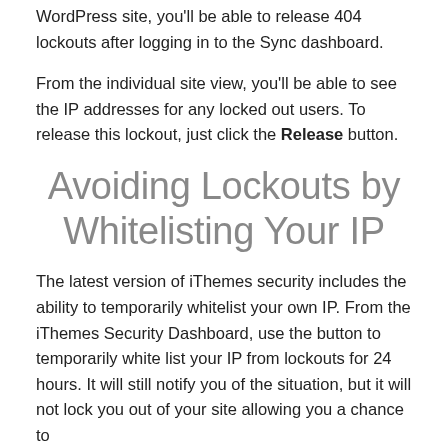WordPress site, you'll be able to release 404 lockouts after logging in to the Sync dashboard.
From the individual site view, you'll be able to see the IP addresses for any locked out users. To release this lockout, just click the Release button.
Avoiding Lockouts by Whitelisting Your IP
The latest version of iThemes security includes the ability to temporarily whitelist your own IP. From the iThemes Security Dashboard, use the button to temporarily white list your IP from lockouts for 24 hours. It will still notify you of the situation, but it will not lock you out of your site allowing you a chance to